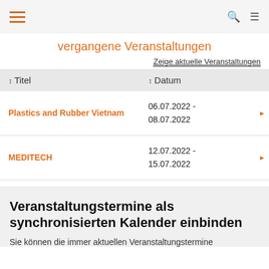vergangene Veranstaltungen
Zeige aktuelle Veranstaltungen
| ↕ Titel | ↕ Datum |  |
| --- | --- | --- |
| Plastics and Rubber Vietnam | 06.07.2022 - 08.07.2022 |  |
| MEDITECH | 12.07.2022 - 15.07.2022 |  |
Veranstaltungstermine als synchronisierten Kalender einbinden
Sie können die immer aktuellen Veranstaltungstermine